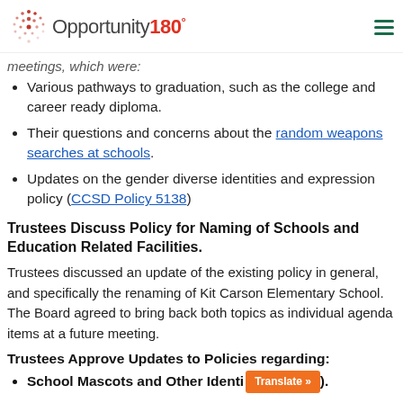Opportunity180°
meetings, which were:
Various pathways to graduation, such as the college and career ready diploma.
Their questions and concerns about the random weapons searches at schools.
Updates on the gender diverse identities and expression policy (CCSD Policy 5138)
Trustees Discuss Policy for Naming of Schools and Education Related Facilities.
Trustees discussed an update of the existing policy in general, and specifically the renaming of Kit Carson Elementary School. The Board agreed to bring back both topics as individual agenda items at a future meeting.
Trustees Approve Updates to Policies regarding:
School Mascots and Other Identi... Translate »).